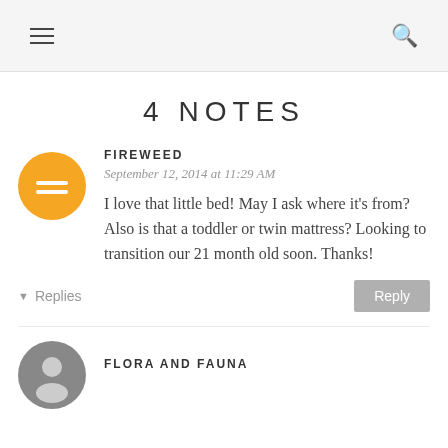≡  🔍
4 NOTES
FIREWEED
September 12, 2014 at 11:29 AM
I love that little bed! May I ask where it's from? Also is that a toddler or twin mattress? Looking to transition our 21 month old soon. Thanks!
▾ Replies
FLORA AND FAUNA